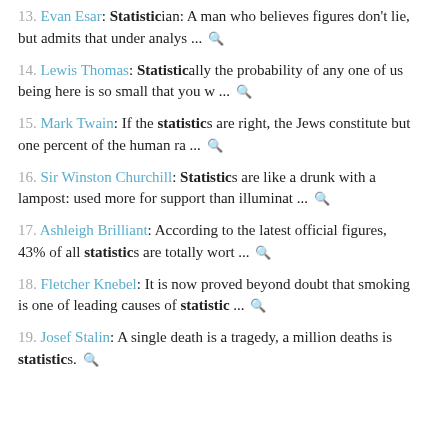13. Evan Esar: Statistician: A man who believes figures don't lie, but admits that under analys ...
14. Lewis Thomas: Statistically the probability of any one of us being here is so small that you w ...
15. Mark Twain: If the statistics are right, the Jews constitute but one percent of the human ra ...
16. Sir Winston Churchill: Statistics are like a drunk with a lampost: used more for support than illuminat ...
17. Ashleigh Brilliant: According to the latest official figures, 43% of all statistics are totally wort ...
18. Fletcher Knebel: It is now proved beyond doubt that smoking is one of leading causes of statistic ...
19. Josef Stalin: A single death is a tragedy, a million deaths is statistics.